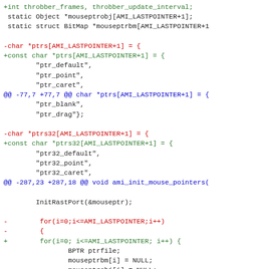Code diff showing changes to pointer declarations and mouse initialization loop in C source.